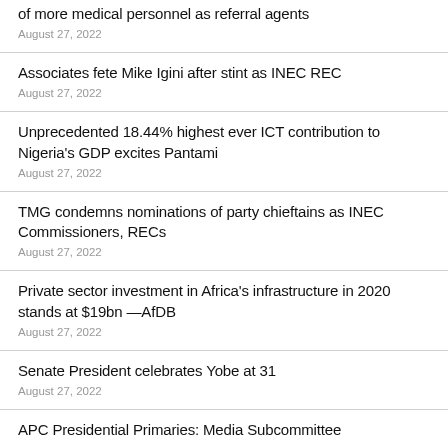of more medical personnel as referral agents
August 27, 2022
Associates fete Mike Igini after stint as INEC REC
August 27, 2022
Unprecedented 18.44% highest ever ICT contribution to Nigeria's GDP excites Pantami
August 27, 2022
TMG condemns nominations of party chieftains as INEC Commissioners, RECs
August 27, 2022
Private sector investment in Africa's infrastructure in 2020 stands at $19bn —AfDB
August 27, 2022
Senate President celebrates Yobe at 31
August 27, 2022
APC Presidential Primaries: Media Subcommittee